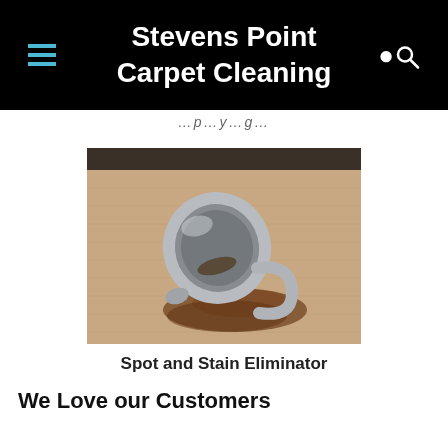Stevens Point Carpet Cleaning
…p…y…g…
[Figure (photo): An overturned white coffee mug with coffee spilled onto a beige carpet, photographed close-up.]
Spot and Stain Eliminator
We Love our Customers